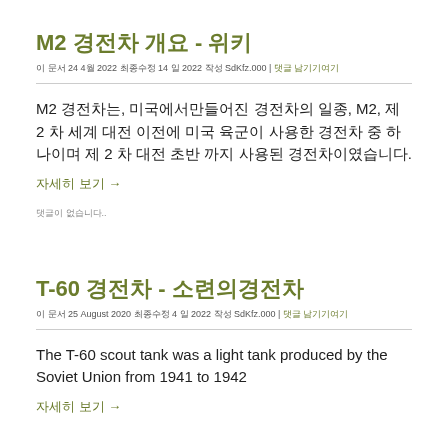M2 경전차 개요 - 위키
이 문서 24 4월 2022 최종수정 14 일 2022 작성 SdKfz.000 | 댓글 남기기여기
M2 경전차는, 미국에서만들어진 경전차의 일종, M2, 제 2 차 세계 대전 이전에 미국 육군이 사용한 경전차 중 하나이며 제 2 차 대전 초반 까지 사용된 경전차이였습니다.
자세히 보기 →
댓글이 없습니다..
T-60 경전차 - 소련의경전차
이 문서 25 August 2020 최종수정 4 일 2022 작성 SdKfz.000 | 댓글 남기기여기
The T-60 scout tank was a light tank produced by the Soviet Union from 1941 to 1942
자세히 보기 →